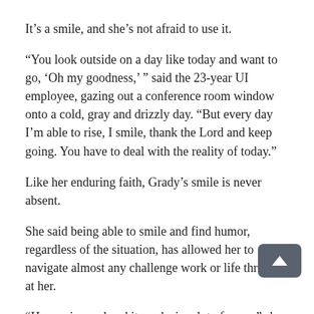It’s a smile, and she’s not afraid to use it.
“You look outside on a day like today and want to go, ‘Oh my goodness,’ ” said the 23-year UI employee, gazing out a conference room window onto a cold, gray and drizzly day. “But every day I’m able to rise, I smile, thank the Lord and keep going. You have to deal with the reality of today.”
Like her enduring faith, Grady’s smile is never absent.
She said being able to smile and find humor, regardless of the situation, has allowed her to navigate almost any challenge work or life throws at her.
“Humor is good and it works in a lot of areas,” she said. “I just always try to stay positive, even if I’m not feeling the greatest, and that ends up coming back to me.”